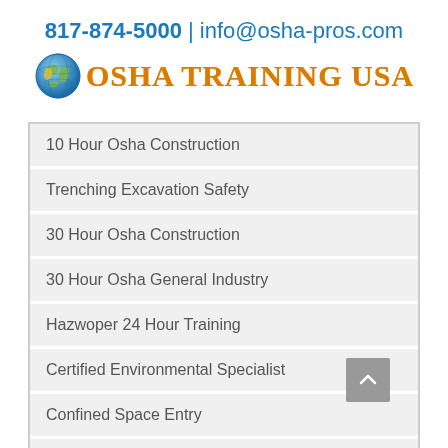817-874-5000 | info@osha-pros.com
[Figure (logo): Globe icon followed by OSHA Training USA logo text in orange/gold color]
10 Hour Osha Construction
Trenching Excavation Safety
30 Hour Osha Construction
30 Hour Osha General Industry
Hazwoper 24 Hour Training
Certified Environmental Specialist
Confined Space Entry
Hazwoper 8 Hour Refresher